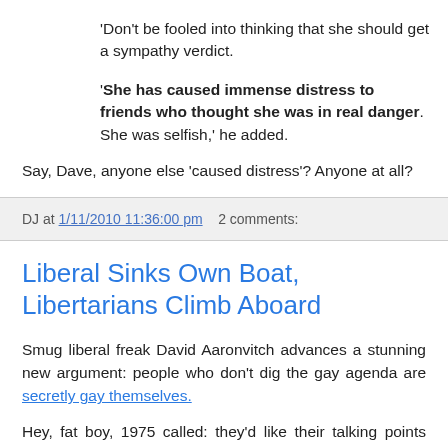'Don't be fooled into thinking that she should get a sympathy verdict.
'She has caused immense distress to friends who thought she was in real danger. She was selfish,' he added.
Say, Dave, anyone else 'caused distress'? Anyone at all?
DJ at 1/11/2010 11:36:00 pm   2 comments:
Liberal Sinks Own Boat, Libertarians Climb Aboard
Smug liberal freak David Aaronvitch advances a stunning new argument: people who don't dig the gay agenda are secretly gay themselves.
Hey, fat boy, 1975 called: they'd like their talking points back